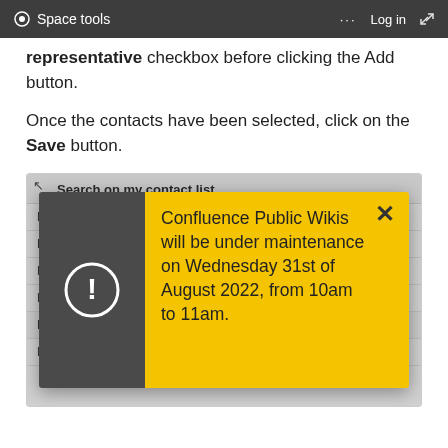Space tools  ...  Log in
representative checkbox before clicking the Add button.
Once the contacts have been selected, click on the Save button.
Search on my contact list
[Figure (screenshot): A modal notification dialog overlay on a contact list table. The left side of the modal is dark grey with a white exclamation mark circle icon. The right side is yellow with a close (X) button and the text: Confluence Public Wikis will be under maintenance on Wednesday 31st of August 2022, from 10am to 11am. The underlying table shows contact rows with First, Last, and email columns, including entries: First/Last/first.last@ec.europa.eu and First2/last2/aadd@ddaa.cc]
| First | Last | Email |
| --- | --- | --- |
| First | Last | first.last@ec.europa.eu |
| First2 | last2 | aadd@ddaa.cc |